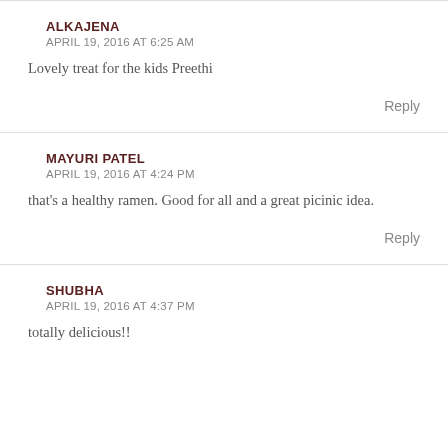ALKAJENA
APRIL 19, 2016 AT 6:25 AM
Lovely treat for the kids Preethi
Reply
MAYURI PATEL
APRIL 19, 2016 AT 4:24 PM
that's a healthy ramen. Good for all and a great picinic idea.
Reply
SHUBHA
APRIL 19, 2016 AT 4:37 PM
totally delicious!!